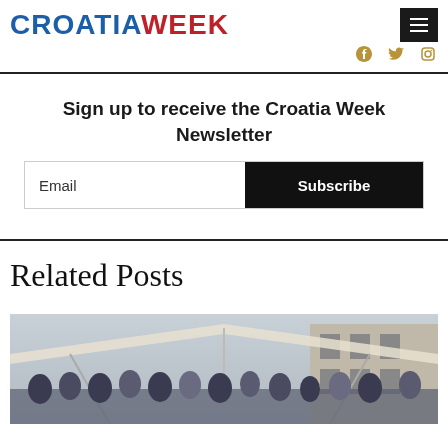CROATIA WEEK
Sign up to receive the Croatia Week Newsletter
Email
Subscribe
Related Posts
[Figure (photo): Outdoor crowd scene at a public event under a tent canopy, with stone buildings in background]